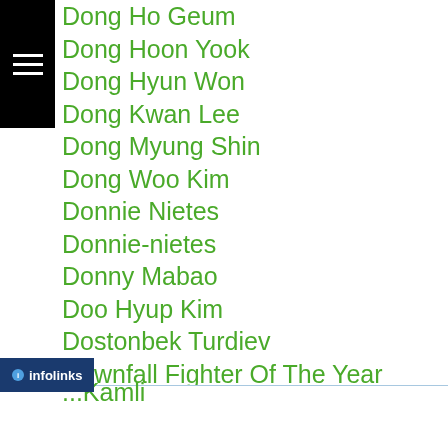Dong Ho Geum
Dong Hoon Yook
Dong Hyun Won
Dong Kwan Lee
Dong Myung Shin
Dong Woo Kim
Donnie Nietes
Donnie-nietes
Donny Mabao
Doo Hyup Kim
Dostonbek Turdiev
Downfall Fighter Of The Year
Downua Ruawaiking
Drian Francisco
Drugs
Dynamic Glove
...Kamli
[Figure (screenshot): Wolf Game advertisement banner with wolves running in a field, text 'THE HUNT IS ON!' with infolinks badge and close buttons]